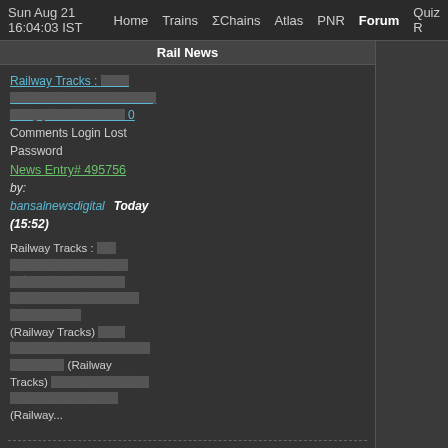Sun Aug 21 16:04:03 IST   Home   Trains   ΣChains   Atlas   PNR   Forum   Quiz R
Rail News
Railway Tracks : [Hindi text] 0 Comments Login Lost Password
News Entry# 495756
by: bansalnewsdigital  Today (15:52)
Railway Tracks : [Hindi text] (Railway Tracks) [Hindi text] (Railway Tracks) [Hindi text] (Railway...
[Hindi text link - second news item]
News Entry# 495755